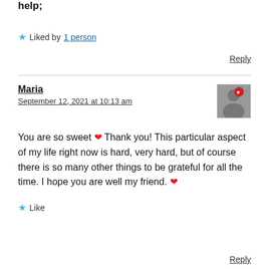help;
★ Liked by 1 person
Reply
Maria
September 12, 2021 at 10:13 am
You are so sweet ❤ Thank you! This particular aspect of my life right now is hard, very hard, but of course there is so many other things to be grateful for all the time. I hope you are well my friend. ❤
★ Like
Reply